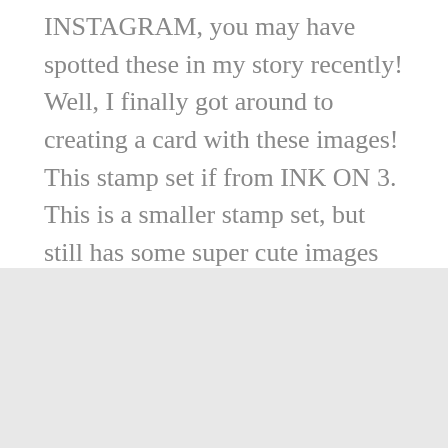INSTAGRAM, you may have spotted these in my story recently! Well, I finally got around to creating a card with these images! This stamp set if from INK ON 3. This is a smaller stamp set, but still has some super cute images as well...
READ MORE